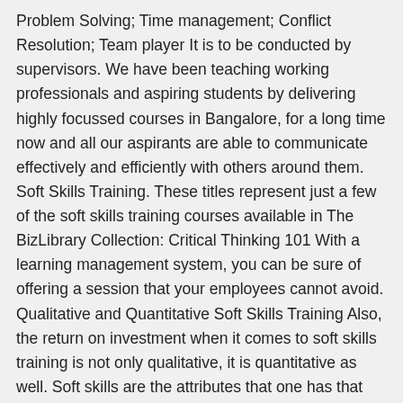Problem Solving; Time management; Conflict Resolution; Team player It is to be conducted by supervisors. We have been teaching working professionals and aspiring students by delivering highly focussed courses in Bangalore, for a long time now and all our aspirants are able to communicate effectively and efficiently with others around them. Soft Skills Training. These titles represent just a few of the soft skills training courses available in The BizLibrary Collection: Critical Thinking 101 With a learning management system, you can be sure of offering a session that your employees cannot avoid. Qualitative and Quantitative Soft Skills Training Also, the return on investment when it comes to soft skills training is not only qualitative, it is quantitative as well. Soft skills are the attributes that one has that make them more approachable and interact harmoniously with others. The report compiles systematic details related to market and offers a precise analysis of the market based on it. It is a cloud-based platform that is packed to the brim with various features that boost engagement. But when they lack leadership qualities and communication skills, the chances are their growth will take a hit. These skills are also defined